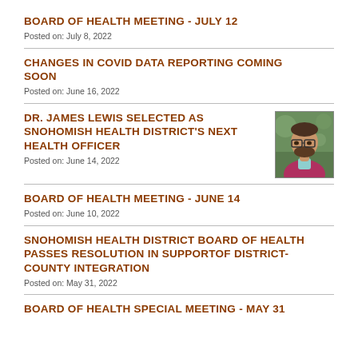BOARD OF HEALTH MEETING - JULY 12
Posted on: July 8, 2022
CHANGES IN COVID DATA REPORTING COMING SOON
Posted on: June 16, 2022
DR. JAMES LEWIS SELECTED AS SNOHOMISH HEALTH DISTRICT'S NEXT HEALTH OFFICER
[Figure (photo): Headshot photo of Dr. James Lewis, a man with glasses and a beard wearing a pink/magenta sweater over a light blue collared shirt, photographed outdoors.]
Posted on: June 14, 2022
BOARD OF HEALTH MEETING - JUNE 14
Posted on: June 10, 2022
SNOHOMISH HEALTH DISTRICT BOARD OF HEALTH PASSES RESOLUTION IN SUPPORTOF DISTRICT-COUNTY INTEGRATION
Posted on: May 31, 2022
BOARD OF HEALTH SPECIAL MEETING - MAY 31